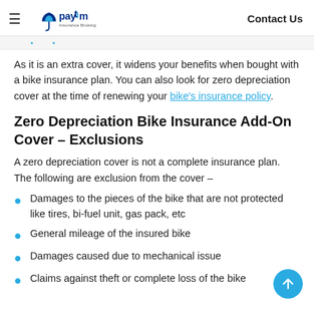Paytm Insurance Broking | Contact Us
As it is an extra cover, it widens your benefits when bought with a bike insurance plan. You can also look for zero depreciation cover at the time of renewing your bike's insurance policy.
Zero Depreciation Bike Insurance Add-On Cover – Exclusions
A zero depreciation cover is not a complete insurance plan. The following are exclusion from the cover –
Damages to the pieces of the bike that are not protected like tires, bi-fuel unit, gas pack, etc
General mileage of the insured bike
Damages caused due to mechanical issue
Claims against theft or complete loss of the bike